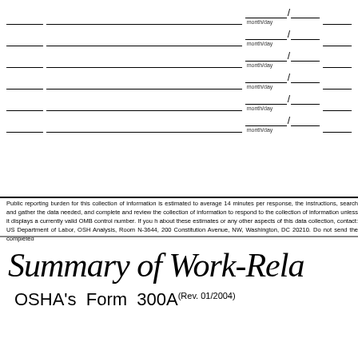Form rows with month/day date fields (partial OSHA 300 log rows)
Public reporting burden for this collection of information is estimated to average 14 minutes per response, the instructions, search and gather the data needed, and complete and review the collection of information to respond to the collection of information unless it displays a currently valid OMB control number. If you h about these estimates or any other aspects of this data collection, contact: US Department of Labor, OSH Analysis, Room N-3644, 200 Constitution Avenue, NW, Washington, DC 20210. Do not send the completed
Summary of Work-Rela
OSHA's Form 300A (Rev. 01/2004)